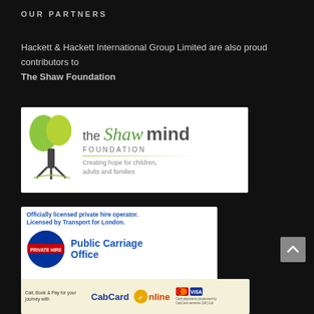OUR PARTNERS
Hackett & Hackett International Group Limited are also proud contributors to The Shaw Foundation
[Figure (logo): The Shaw Mind Foundation logo — green tree illustration on left, text 'the Shaw mind FOUNDATION' on right with tagline 'Creating hope for children, adults and families']
[Figure (logo): Transport for London Public Carriage Office badge — blue circular TfL logo with PRIVATE HIRE text, alongside 'Officially licensed private hire operator. Licensed by Transport for London. Public Carriage Office']
[Figure (logo): CabCard Online banner — 'Call, Book & Pay for your journey with CabCard Online', MasterCard and Visa logos, text 'Card payments processed by CabCard services (UK) Ltd']